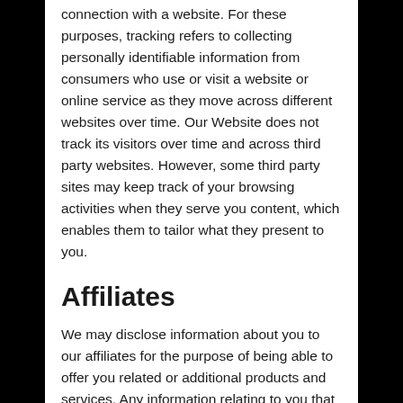connection with a website. For these purposes, tracking refers to collecting personally identifiable information from consumers who use or visit a website or online service as they move across different websites over time. Our Website does not track its visitors over time and across third party websites. However, some third party sites may keep track of your browsing activities when they serve you content, which enables them to tailor what they present to you.
Affiliates
We may disclose information about you to our affiliates for the purpose of being able to offer you related or additional products and services. Any information relating to you that we provide to our affiliates will be treated by those affiliates in